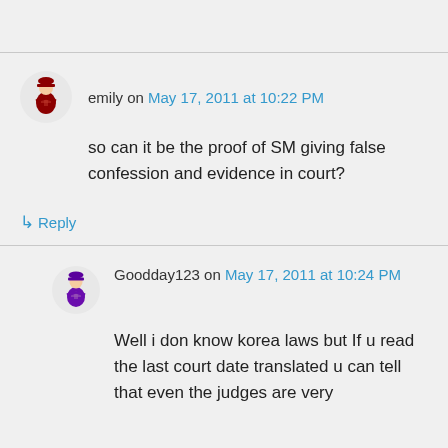emily on May 17, 2011 at 10:22 PM
so can it be the proof of SM giving false confession and evidence in court?
↳ Reply
Goodday123 on May 17, 2011 at 10:24 PM
Well i don know korea laws but If u read the last court date translated u can tell that even the judges are very